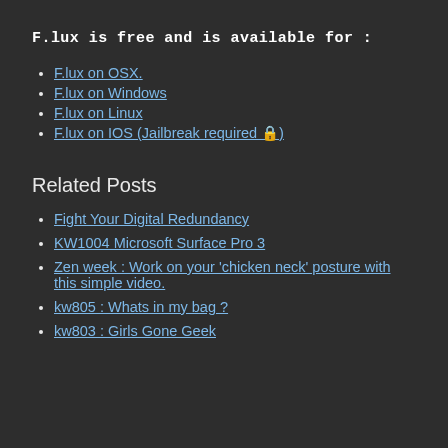F.lux is free and is available for :
F.lux on OSX.
F.lux on Windows
F.lux on Linux
F.lux on IOS (Jailbreak required 🔒)
Related Posts
Fight Your Digital Redundancy
KW1004 Microsoft Surface Pro 3
Zen week : Work on your 'chicken neck' posture with this simple video.
kw805 : Whats in my bag ?
kw803 : Girls Gone Geek